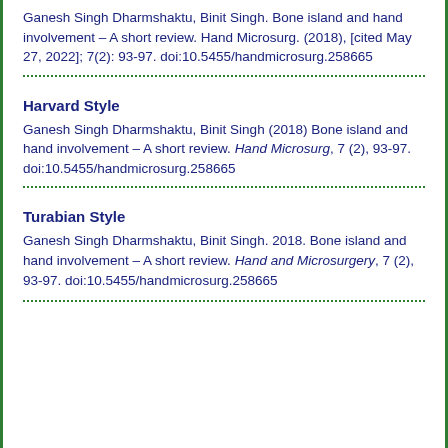Ganesh Singh Dharmshaktu, Binit Singh. Bone island and hand involvement – A short review. Hand Microsurg. (2018), [cited May 27, 2022]; 7(2): 93-97. doi:10.5455/handmicrosurg.258665
Harvard Style
Ganesh Singh Dharmshaktu, Binit Singh (2018) Bone island and hand involvement – A short review. Hand Microsurg, 7 (2), 93-97. doi:10.5455/handmicrosurg.258665
Turabian Style
Ganesh Singh Dharmshaktu, Binit Singh. 2018. Bone island and hand involvement – A short review. Hand and Microsurgery, 7 (2), 93-97. doi:10.5455/handmicrosurg.258665